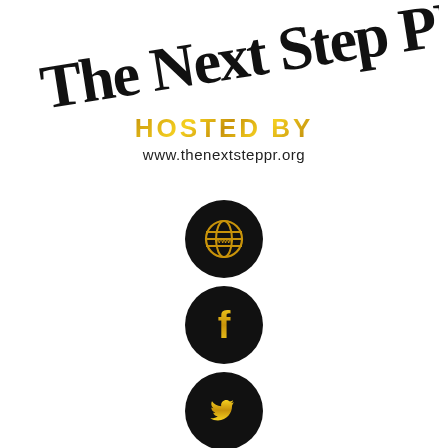[Figure (logo): The Next Step PR logo with handwritten script text, 'HOSTED BY' in gold glitter font, and website URL www.thenextsteppr.org]
[Figure (infographic): Four black circular social media icons with gold symbols: www globe icon, Facebook f icon, Twitter bird icon, Instagram camera icon, arranged vertically]